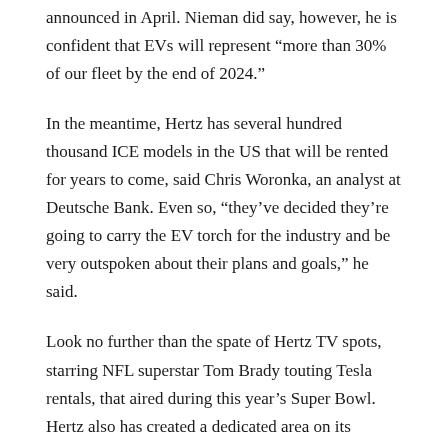announced in April. Nieman did say, however, he is confident that EVs will represent “more than 30% of our fleet by the end of 2024.”
In the meantime, Hertz has several hundred thousand ICE models in the US that will be rented for years to come, said Chris Woronka, an analyst at Deutsche Bank. Even so, “they’ve decided they’re going to carry the EV torch for the industry and be very outspoken about their plans and goals,” he said.
Look no further than the spate of Hertz TV spots, starring NFL superstar Tom Brady touting Tesla rentals, that aired during this year’s Super Bowl. Hertz also has created a dedicated area on its website to help educate drivers about EVs.
Renting EVs to corporates focused on ESG, carbon neutrality
A sign of great for Hertz according to Woronka is the company’s